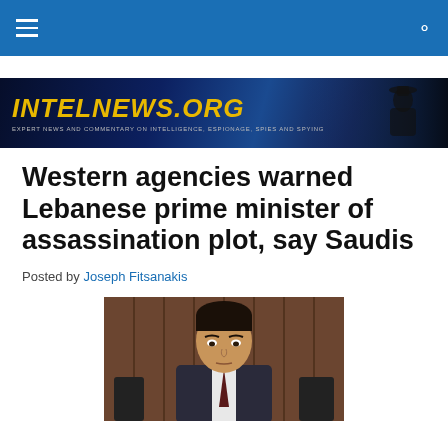intelnews.org navigation bar with hamburger menu and search icon
[Figure (illustration): intelnews.org banner with yellow italic bold text on dark blue background, subtitle: EXPERT NEWS AND COMMENTARY ON INTELLIGENCE, ESPIONAGE, SPIES AND SPYING, silhouette figure on right]
Western agencies warned Lebanese prime minister of assassination plot, say Saudis
Posted by Joseph Fitsanakis
[Figure (photo): Photograph of a man in a suit seated in front of a dark paneled background, looking directly at camera with a serious expression]